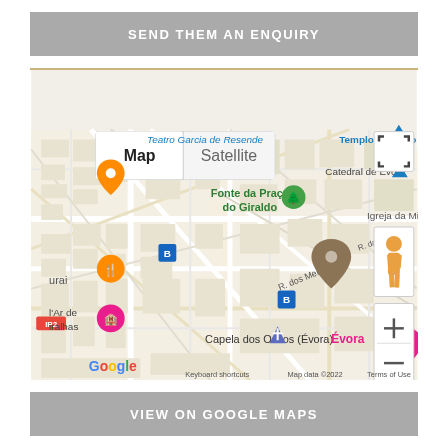SEND THEM AN ENQUIRY
[Figure (map): Google Map showing Évora, Portugal area with landmarks: Teatro Garcia de Resende, Templo Romano Évora, Catedral de Évora, Fonte da Praça do Giraldo, Igreja da Misericórd, R. da Moeda, R. dos Mercadores, Chapel dos Ossos (Évora), Évora. Map/Satellite toggle buttons, zoom controls, pegman icon, fullscreen icon, IP2 road label, Google logo, Keyboard shortcuts, Map data ©2022, Terms of Use.]
VIEW ON GOOGLE MAPS